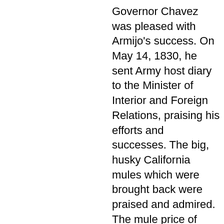Governor Chavez was pleased with Armijo's success. On May 14, 1830, he sent Army host diary to the Minister of Interior and Foreign Relations, praising his efforts and successes. The big, husky California mules which were brought back were praised and admired. The mule price of $10-$14 in California returned favorable profits, for mules were sold to the traders and trappers and New Mexico for $50 or more. The reputation of these California animals spread, and they became coveted by the trappers and freighters in the West and in